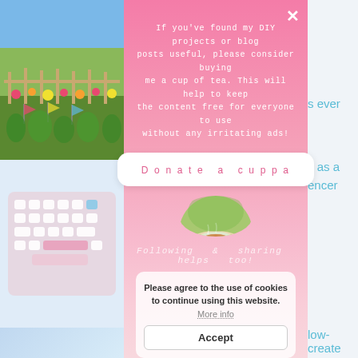[Figure (screenshot): Website screenshot showing a donation modal overlay on a pink gradient background. The modal contains text asking users to donate a cup of tea to support DIY/blog content, a 'Donate a cuppa' button, a circular tea image, 'Following & sharing helps too!' text, and a cookie consent banner with 'Accept' button. Background shows partial blog content with garden and keyboard images on the left and blue text on the right.]